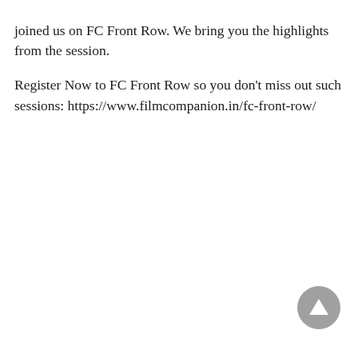joined us on FC Front Row. We bring you the highlights from the session.
Register Now to FC Front Row so you don't miss out such sessions: https://www.filmcompanion.in/fc-front-row/
[Figure (other): Grey circular scroll-to-top button with an upward-pointing triangle (arrow) icon]